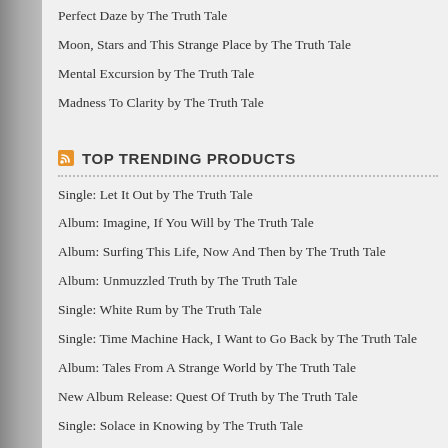Perfect Daze by The Truth Tale
Moon, Stars and This Strange Place by The Truth Tale
Mental Excursion by The Truth Tale
Madness To Clarity by The Truth Tale
TOP TRENDING PRODUCTS
Single: Let It Out by The Truth Tale
Album: Imagine, If You Will by The Truth Tale
Album: Surfing This Life, Now And Then by The Truth Tale
Album: Unmuzzled Truth by The Truth Tale
Single: White Rum by The Truth Tale
Single: Time Machine Hack, I Want to Go Back by The Truth Tale
Album: Tales From A Strange World by The Truth Tale
New Album Release: Quest Of Truth by The Truth Tale
Single: Solace in Knowing by The Truth Tale
La Fem (Midnight Mix) by The Truth Tale
Mission to the Stars by The Truth Tale